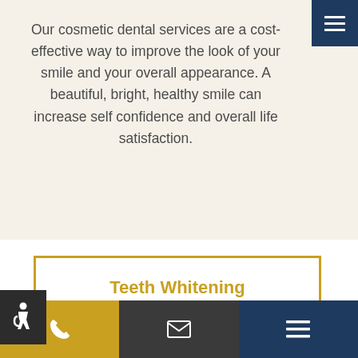Our cosmetic dental services are a cost-effective way to improve the look of your smile and your overall appearance. A beautiful, bright, healthy smile can increase self confidence and overall life satisfaction.
Teeth Whitening
Restore natural brightness to your smile with professional teeth whitening at Jubilee Dental Centre.
LEARN MORE ▶